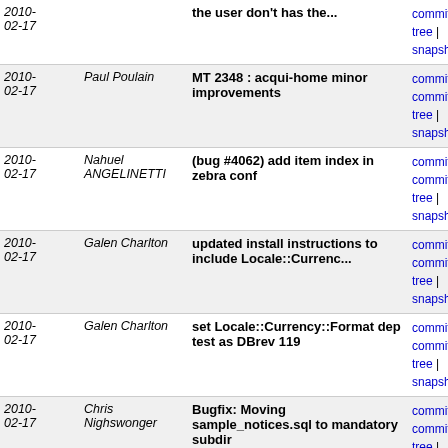| Date | Author | Message | Links |
| --- | --- | --- | --- |
| 2010-02-17 |  | the user don't has the... | commit | commitdiff | tree | snapshot |
| 2010-02-17 | Paul Poulain | MT 2348 : acqui-home minor improvements | commit | commitdiff | tree | snapshot |
| 2010-02-17 | Nahuel ANGELINETTI | (bug #4062) add item index in zebra conf | commit | commitdiff | tree | snapshot |
| 2010-02-17 | Galen Charlton | updated install instructions to include Locale::Currenc... | commit | commitdiff | tree | snapshot |
| 2010-02-17 | Galen Charlton | set Locale::Currency::Format dep test as DBrev 119 | commit | commitdiff | tree | snapshot |
| 2010-02-17 | Chris Nighswonger | Bugfix: Moving sample_notices.sql to mandatory subdir | commit | commitdiff | tree | snapshot |
| 2010-02-17 | Chris Nighswonger | Bugfix: [3/3] [TRANSLATION NEEDED] overdue_notices... | commit | commitdiff | tree | snapshot |
| 2010-02-17 | Chris Nighswonger | Bugfix: [2/3] overdue_notices.pl does not process all... | commit | commitdiff | tree | snapshot |
| 2010-02-17 | Chris Nighswonger | Bugfix: [1/3] overdue_notices.pl does not process all... | commit | commitdiff | tree | snapshot |
| 2010-02-17 | Nicole Engard | bug 4197 fix opac patron update | commit | commitdiff | tree | snapshot |
| 2010- | Galen Charlton | bug 3973: make auto-fill button | commit | |